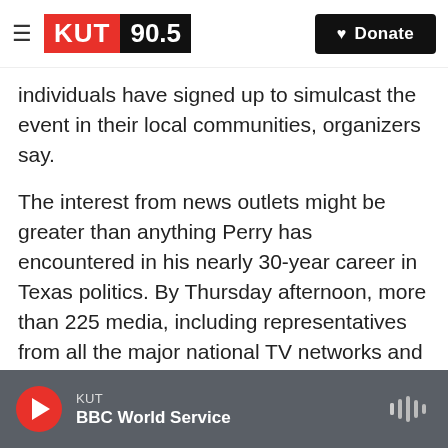KUT 90.5 — Donate
individuals have signed up to simulcast the event in their local communities, organizers say.
The interest from news outlets might be greater than anything Perry has encountered in his nearly 30-year career in Texas politics. By Thursday afternoon, more than 225 media, including representatives from all the major national TV networks and newspapers, had signed up for credentials, officials said.
“A movement is stirring among men and women of faith who are committed to praying for our nation,” said Response spokesman Eric Bearse. “Even the
KUT — BBC World Service